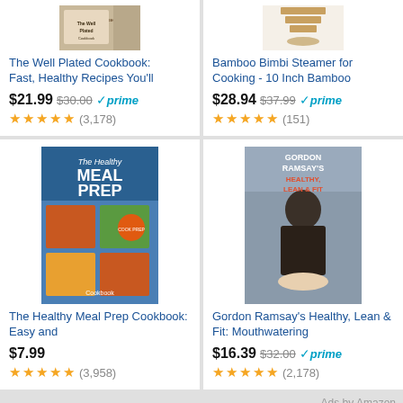[Figure (screenshot): Amazon product listing page showing 4 product cards in a 2x2 grid. Top row: 'The Well Plated Cookbook' and 'Bamboo Bimbi Steamer'. Bottom row: 'The Healthy Meal Prep Cookbook' and 'Gordon Ramsay's Healthy, Lean & Fit'. Each card shows a product image, title, price, and star ratings.]
The Well Plated Cookbook: Fast, Healthy Recipes You'll
$21.99 $30.00 prime (3,178)
Bamboo Bimbi Steamer for Cooking - 10 Inch Bamboo
$28.94 $37.99 prime (151)
The Healthy Meal Prep Cookbook: Easy and
$7.99 (3,958)
Gordon Ramsay's Healthy, Lean & Fit: Mouthwatering
$16.39 $32.00 prime (2,178)
Ads by Amazon
Main Dishes